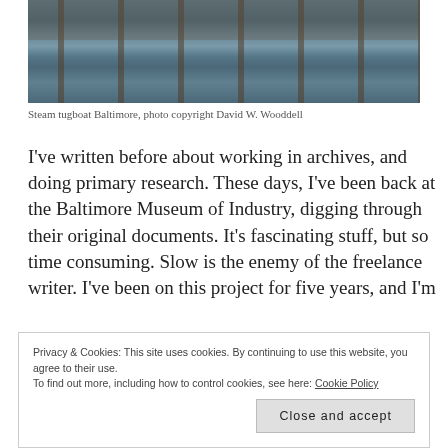[Figure (photo): Photograph of a waterway with dock pilings reflected in the water, taken at a harbor or port area.]
Steam tugboat Baltimore, photo copyright David W. Wooddell
I've written before about working in archives, and doing primary research. These days, I've been back at the Baltimore Museum of Industry, digging through their original documents. It's fascinating stuff, but so time consuming. Slow is the enemy of the freelance writer. I've been on this project for five years, and I'm
Privacy & Cookies: This site uses cookies. By continuing to use this website, you agree to their use. To find out more, including how to control cookies, see here: Cookie Policy
Close and accept